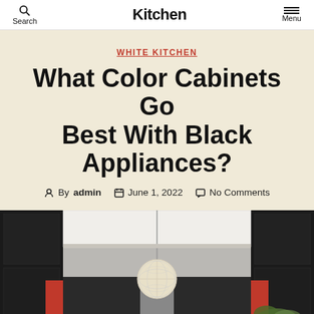Kitchen — Search | Menu
WHITE KITCHEN
What Color Cabinets Go Best With Black Appliances?
By admin  June 1, 2022  No Comments
[Figure (photo): A modern kitchen interior with dark black upper cabinets, a spherical crystal chandelier/pendant light in the center, red accent panels, and black lower cabinets. View from below showing ceiling level perspective.]